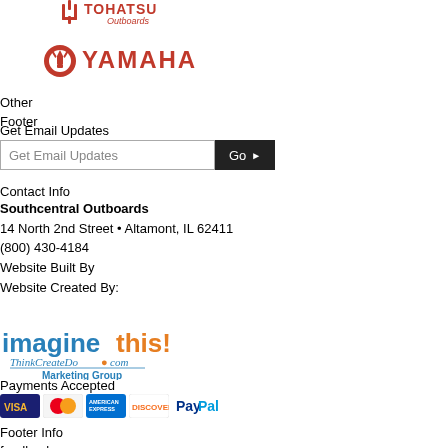[Figure (logo): Tohatsu Outboards logo — red stylized icon with 'TOHATSU Outboards' text in red]
[Figure (logo): Yamaha logo — red circular tuning-fork emblem with 'YAMAHA' text in red]
Other
Footer
Get Email Updates
Get Email Updates [input field] Go ▶
Contact Info
Southcentral Outboards
14 North 2nd Street • Altamont, IL 62411
(800) 430-4184
Website Built By
Website Created By:
[Figure (logo): imaginethis! ThinkCreateDo.com Marketing Group logo — blue and orange text with stylized branding]
Payments Accepted
[Figure (logo): Payment icons: Visa, Mastercard, American Express, Discover, PayPal]
Footer Info
feedback
terms
sitemap
© 2022 Southcentral Outboards. All rights reserved.
Website Powered By